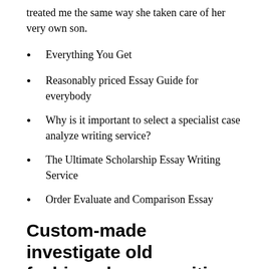treated me the same way she taken care of her very own son.
Everything You Get
Reasonably priced Essay Guide for everybody
Why is it important to select a specialist case analyze writing service?
The Ultimate Scholarship Essay Writing Service
Order Evaluate and Comparison Essay
Custom-made investigate old fashioned paper writing service for college kids like you
She manufactured me do chores: I set dinner, fed their two puppies Sassy and Lady, and once a week I cleaned the